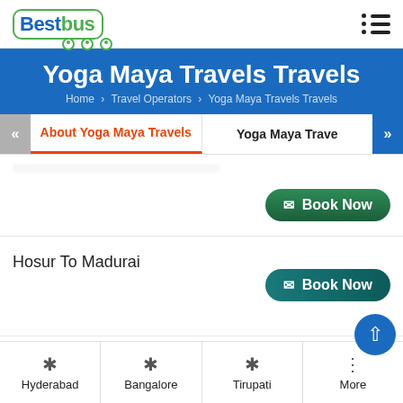BestBus
Yoga Maya Travels Travels
Home > Travel Operators > Yoga Maya Travels Travels
About Yoga Maya Travels | Yoga Maya Trave
Book Now
Hosur To Madurai
Book Now
Dindigul To Madurai
Hyderabad | Bangalore | Tirupati | More